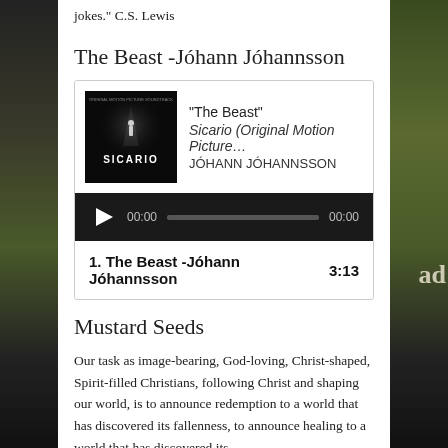jokes." C.S. Lewis
The Beast -Jóhann Jóhannsson
[Figure (other): Music player card showing 'The Beast' from Sicario (Original Motion Picture...) by JÓHANN JÓHANNSSON with audio player controls showing 00:00 / 00:00 and track listing: 1. The Beast -Jóhann Jóhannsson 3:13]
Mustard Seeds
Our task as image-bearing, God-loving, Christ-shaped, Spirit-filled Christians, following Christ and shaping our world, is to announce redemption to a world that has discovered its fallenness, to announce healing to a world that has discovered its brokenness, and above all to announce love to a world that has discovered its own hatred.